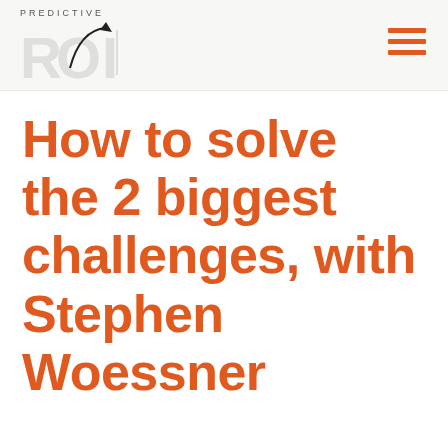[Figure (logo): Predictive ROI logo with stylized ROI text and upward arrow curve]
[Figure (other): Hamburger menu icon with three orange horizontal lines]
How to solve the 2 biggest challenges, with Stephen Woessner